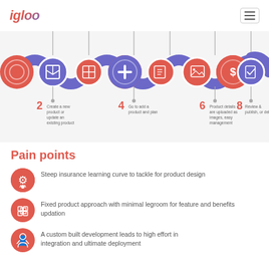igloo
[Figure (infographic): 8-step process flow with alternating orange/red and blue-purple circles connected by a wavy path. Steps shown: 2 - Create a new product or update an existing product, 4 - Go to add a product and plan, 6 - Product details are uploaded as images, easy management, 8 - Review & publish, or delist]
Pain points
Steep insurance learning curve to tackle for product design
Fixed product approach with minimal legroom for feature and benefits updation
A custom built development leads to high effort in integration and ultimate deployment